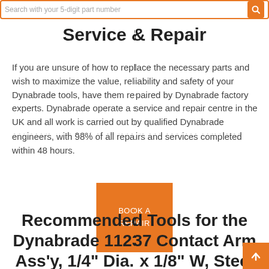Search with your 5-digit part number
Service & Repair
If you are unsure of how to replace the necessary parts and wish to maximize the value, reliability and safety of your Dynabrade tools, have them repaired by Dynabrade factory experts. Dynabrade operate a service and repair centre in the UK and all work is carried out by qualified Dynabrade engineers, with 98% of all repairs and services completed within 48 hours.
[Figure (other): Orange button with white text reading BOOK A REPAIR]
Recommended Tools for the Dynabrade 11237 Contact Arm Ass'y, 1/4" Dia. x 1/8" W, Steel Wheel, Polish Turbine Blades